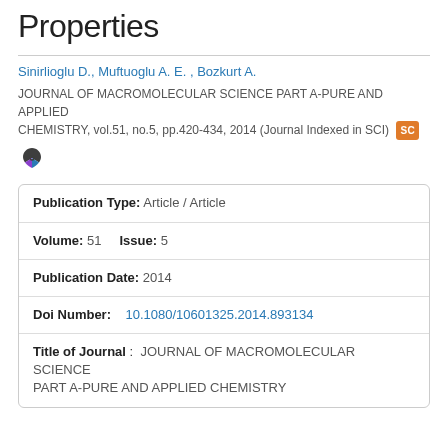Properties
Sinirlioglu D., Muftuoglu A. E. , Bozkurt A.
JOURNAL OF MACROMOLECULAR SCIENCE PART A-PURE AND APPLIED CHEMISTRY, vol.51, no.5, pp.420-434, 2014 (Journal Indexed in SCI)
| Publication Type: | Article / Article |
| Volume: 51  Issue: | 5 |
| Publication Date: | 2014 |
| Doi Number: | 10.1080/10601325.2014.893134 |
| Title of Journal: | JOURNAL OF MACROMOLECULAR SCIENCE PART A-PURE AND APPLIED CHEMISTRY |